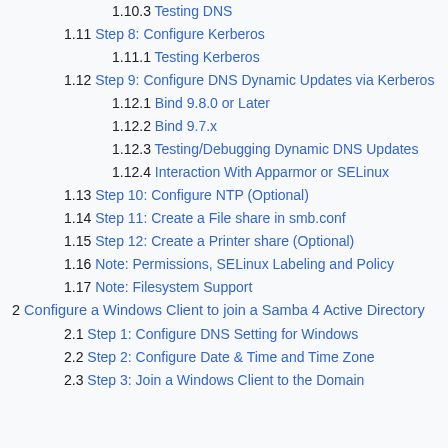1.10.3 Testing DNS
1.11 Step 8: Configure Kerberos
1.11.1 Testing Kerberos
1.12 Step 9: Configure DNS Dynamic Updates via Kerberos
1.12.1 Bind 9.8.0 or Later
1.12.2 Bind 9.7.x
1.12.3 Testing/Debugging Dynamic DNS Updates
1.12.4 Interaction With Apparmor or SELinux
1.13 Step 10: Configure NTP (Optional)
1.14 Step 11: Create a File share in smb.conf
1.15 Step 12: Create a Printer share (Optional)
1.16 Note: Permissions, SELinux Labeling and Policy
1.17 Note: Filesystem Support
2 Configure a Windows Client to join a Samba 4 Active Directory
2.1 Step 1: Configure DNS Setting for Windows
2.2 Step 2: Configure Date & Time and Time Zone
2.3 Step 3: Join a Windows Client to the Domain